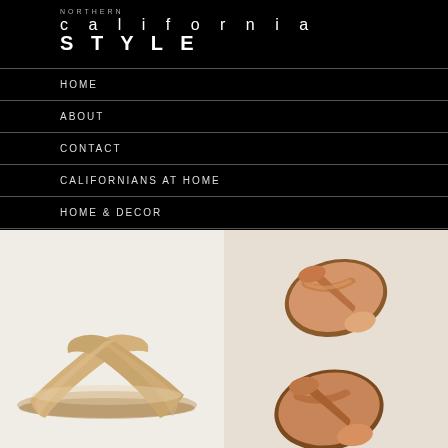NORTHERN california STYLE
HOME
ABOUT
CONTACT
CALIFORNIANS AT HOME
HOME & DECOR
MY CALIFORNIA CLOSET
[Figure (photo): Beige leather crossover slide sandal on light background, side view]
[Figure (photo): Tan leather crossover slide sandals on light background, overhead/top view of two sandals]